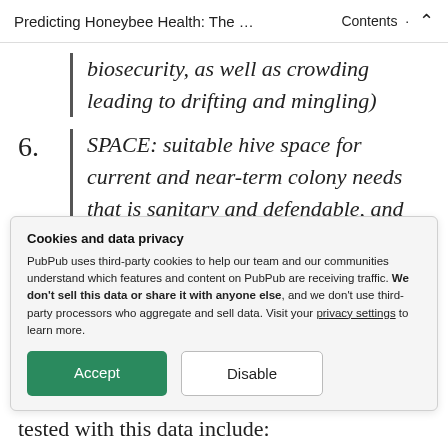Predicting Honeybee Health: The … · Contents ↑
biosecurity, as well as crowding leading to drifting and mingling)
6. SPACE: suitable hive space for current and near-term colony needs that is sanitary and defendable, and has room for egg laying and food storage.
Cookies and data privacy
PubPub uses third-party cookies to help our team and our communities understand which features and content on PubPub are receiving traffic. We don't sell this data or share it with anyone else, and we don't use third-party processors who aggregate and sell data. Visit your privacy settings to learn more.
tested with this data include: